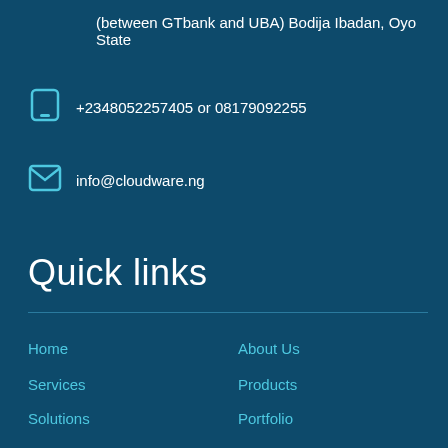(between GTbank and UBA) Bodija Ibadan, Oyo State
+2348052257405 or 08179092255
info@cloudware.ng
Quick links
Home
About Us
Services
Products
Solutions
Portfolio
- Our IT Solutions
- IT Solutions For all Industries
Blog
Contact Us